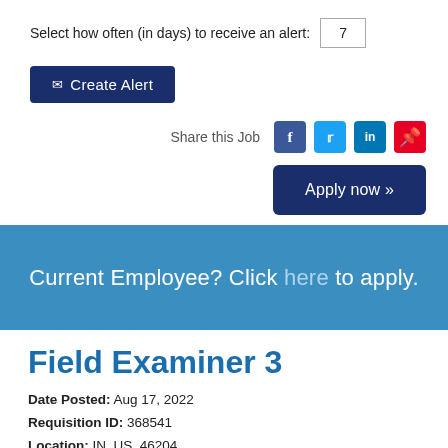Select how often (in days) to receive an alert: 7
✉ Create Alert
Share this Job
Apply now »
Current Employee? Click here to apply.
Field Examiner 3
Date Posted: Aug 17, 2022
Requisition ID: 368541
Location: IN, US, 46204